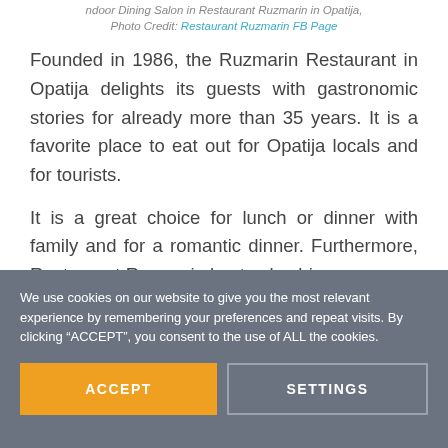ndoor Dining Salon in Restaurant Ruzmarin in Opatija, Photo Credit: Restaurant Ruzmarin FB Page
Founded in 1986, the Ruzmarin Restaurant in Opatija delights its guests with gastronomic stories for already more than 35 years. It is a favorite place to eat out for Opatija locals and for tourists.
It is a great choice for lunch or dinner with family and for a romantic dinner. Furthermore, Restaurant Ruzmarin hosts also bigger groups.
We use cookies on our website to give you the most relevant experience by remembering your preferences and repeat visits. By clicking “ACCEPT”, you consent to the use of ALL the cookies.